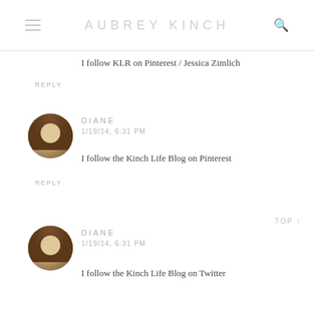AUBREY KINCH
I follow KLR on Pinterest / Jessica Zimlich
REPLY
DIANE
1/19/14, 6:31 PM
I follow the Kinch Life Blog on Pinterest
REPLY
TOP ↑
DIANE
1/19/14, 6:31 PM
I follow the Kinch Life Blog on Twitter